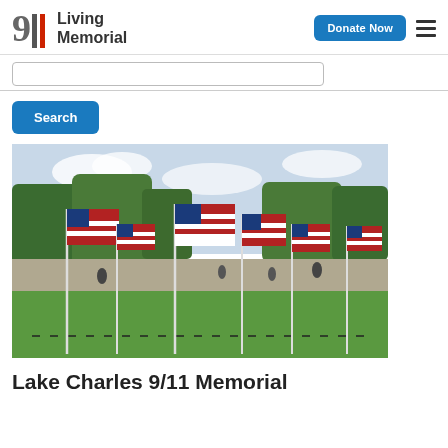911 Living Memorial | Donate Now
[Figure (screenshot): Search input bar, partially visible]
[Figure (photo): Multiple American flags on poles planted in green grass with trees in the background, an outdoor 9/11 memorial display]
Lake Charles 9/11 Memorial